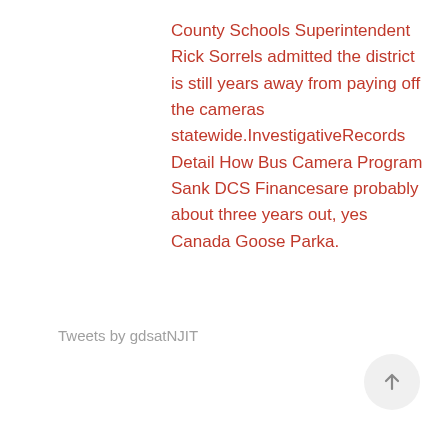County Schools Superintendent Rick Sorrels admitted the district is still years away from paying off the cameras statewide.InvestigativeRecords Detail How Bus Camera Program Sank DCS Financesare probably about three years out, yes Canada Goose Parka.
Tweets by gdsatNJIT